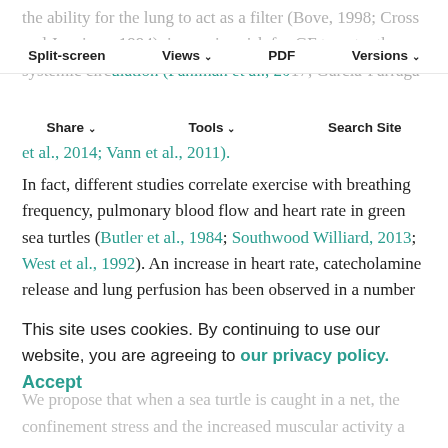the ability for the lung to act as a filter (Bove, 1998; Cross and Jennings, 1994), increasing risk for GF to enter the systemic circulation (Fahlman et al., 2017; Garcia-Parraga et al., 2014; Vann et al., 2011).
Split-screen   Views   PDF   Versions
Share   Tools   Search Site
In fact, different studies correlate exercise with breathing frequency, pulmonary blood flow and heart rate in green sea turtles (Butler et al., 1984; Southwood Williard, 2013; West et al., 1992). An increase in heart rate, catecholamine release and lung perfusion has been observed in a number of reptiles following exercise/capture, also supporting our observations (Shelton and Burggren, 1976; Wang and Hicks, 1996b; Wang et al., 2001; West et al., 1992; White and
This site uses cookies. By continuing to use our website, you are agreeing to our privacy policy. Accept
We propose that when a sea turtle is caught in a net, the confinement stress and the increased muscular activity a...